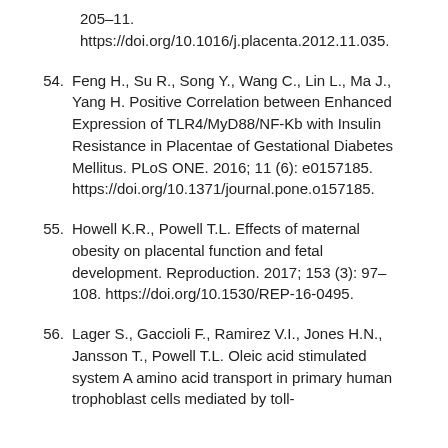205–11. https://doi.org/10.1016/j.placenta.2012.11.035.
54. Feng H., Su R., Song Y., Wang C., Lin L., Ma J., Yang H. Positive Correlation between Enhanced Expression of TLR4/MyD88/NF-Kb with Insulin Resistance in Placentae of Gestational Diabetes Mellitus. PLoS ONE. 2016; 11 (6): e0157185. https://doi.org/10.1371/journal.pone.o157185.
55. Howell K.R., Powell T.L. Effects of maternal obesity on placental function and fetal development. Reproduction. 2017; 153 (3): 97–108. https://doi.org/10.1530/REP-16-0495.
56. Lager S., Gaccioli F., Ramirez V.I., Jones H.N., Jansson T., Powell T.L. Oleic acid stimulated system A amino acid transport in primary human trophoblast cells mediated by toll-